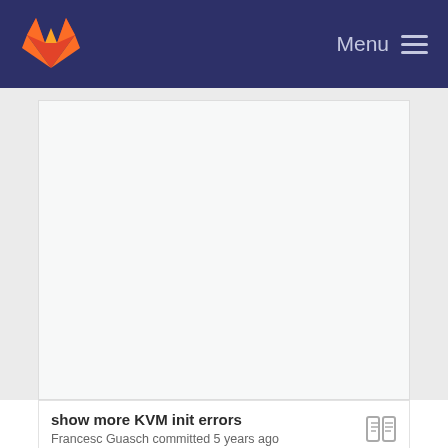Menu
[Figure (other): Large blank/empty content area with light gray background, part of a GitLab web interface page]
show more KVM init errors
Francesc Guasch committed 5 years ago